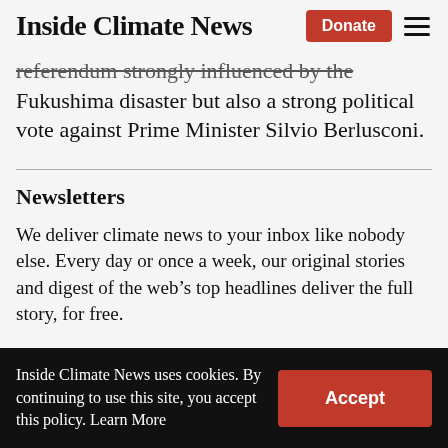Inside Climate News | Donate | ☰
referendum strongly influenced by the Fukushima disaster but also a strong political vote against Prime Minister Silvio Berlusconi.
Newsletters
We deliver climate news to your inbox like nobody else. Every day or once a week, our original stories and digest of the web's top headlines deliver the full story, for free.
Inside Climate News uses cookies. By continuing to use this site, you accept this policy. Learn More | Accept